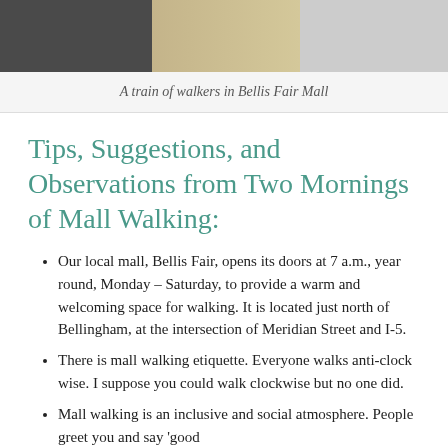[Figure (photo): A photo of a train of walkers in Bellis Fair Mall, showing a dark floor section and light tiled area.]
A train of walkers in Bellis Fair Mall
Tips, Suggestions, and Observations from Two Mornings of Mall Walking:
Our local mall, Bellis Fair, opens its doors at 7 a.m., year round, Monday – Saturday, to provide a warm and welcoming space for walking. It is located just north of Bellingham, at the intersection of Meridian Street and I-5.
There is mall walking etiquette. Everyone walks anti-clock wise. I suppose you could walk clockwise but no one did.
Mall walking is an inclusive and social atmosphere. People greet you and say 'good